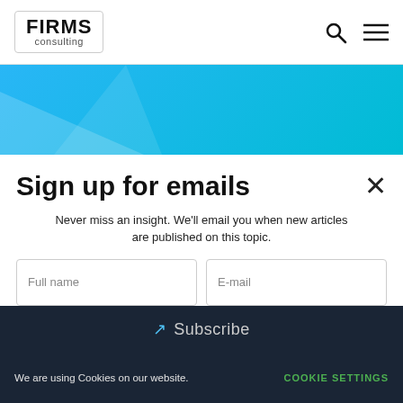FIRMS consulting
[Figure (illustration): Blue gradient banner with geometric light-colored triangle shapes]
Sign up for emails ×
Never miss an insight. We'll email you when new articles are published on this topic.
Full name | E-mail (input fields)
Subscribe (button)
We are using Cookies on our website.  COOKIE SETTINGS